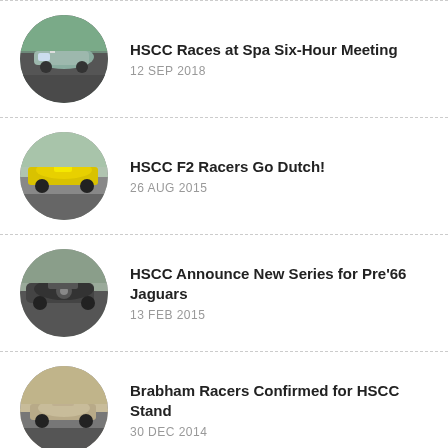[Figure (photo): Circular photo of a classic racing car on a track, green/blue sports car]
HSCC Races at Spa Six-Hour Meeting
12 SEP 2018
[Figure (photo): Circular photo of a yellow Formula 2 racing car on a track]
HSCC F2 Racers Go Dutch!
26 AUG 2015
[Figure (photo): Circular photo of a dark classic Jaguar racing car on a track]
HSCC Announce New Series for Pre'66 Jaguars
13 FEB 2015
[Figure (photo): Circular photo of a Brabham racing car on a track, beige/tan color]
Brabham Racers Confirmed for HSCC Stand
30 DEC 2014